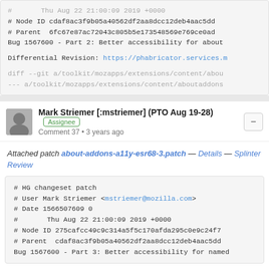# Thu Aug 22 21:00:09 2019 +0000
# Node ID cdaf8ac3f9b05a40562df2aa8dcc12deb4aac5dd
# Parent  6fc67e87ac72043c805b5e173548569e769ce0ad
Bug 1567600 - Part 2: Better accessibility for about

Differential Revision: https://phabricator.services.m

diff --git a/toolkit/mozapps/extensions/content/abou
--- a/toolkit/mozapps/extensions/content/aboutaddons
Mark Striemer [:mstriemer] (PTO Aug 19-28) Assignee
Comment 37 • 3 years ago
Attached patch about-addons-a11y-esr68-3.patch — Details — Splinter Review
# HG changeset patch
# User Mark Striemer <mstriemer@mozilla.com>
# Date 1566507609 0
#       Thu Aug 22 21:00:09 2019 +0000
# Node ID 275cafcc49c9c314a5f5c170afda295c0e9c24f7
# Parent  cdaf8ac3f9b05a40562df2aa8dcc12deb4aac5dd
Bug 1567600 - Part 3: Better accessibility for named